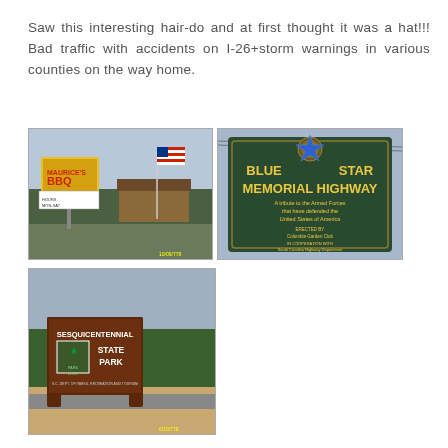Saw this interesting hair-do and at first thought it was a hat!!! Bad traffic with accidents on I-26+storm warnings in various counties on the way home.
[Figure (photo): Photo of Maurice's BBQ restaurant sign with American flag and building in background]
[Figure (photo): Photo of Blue Star Memorial Highway sign — a tribute to the Armed Forces that have defended the United States of America, erected by Columbia Garden Club in cooperation with South Carolina Highway Department]
[Figure (photo): Photo of Sesquicentennial State Park entrance sign with park logo]